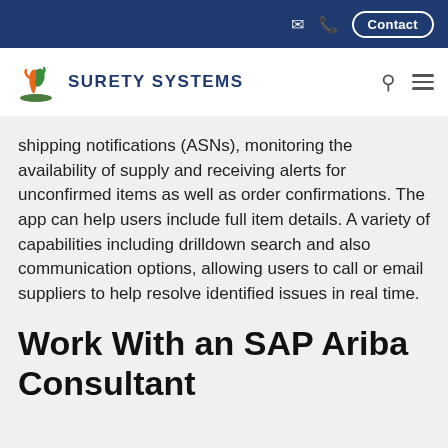Contact
[Figure (logo): Surety Systems logo with stylized orange and green figure above blue/green ground, with text SURETY SYSTEMS]
shipping notifications (ASNs), monitoring the availability of supply and receiving alerts for unconfirmed items as well as order confirmations. The app can help users include full item details. A variety of capabilities including drilldown search and also communication options, allowing users to call or email suppliers to help resolve identified issues in real time.
Work With an SAP Ariba Consultant